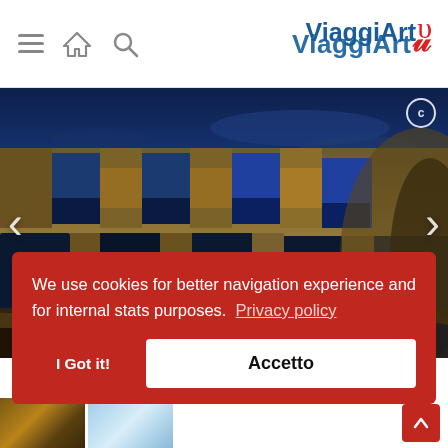[Figure (screenshot): Website header with hamburger menu, home icon, search icon on the left, and ViaggiArt logo on the right]
[Figure (photo): Photograph of the Colosseum in Rome at night, illuminated with golden lights against a deep blue sky, with carousel navigation arrows]
We use cookies for better navigation experience and for internal stats purposes. Privacy policy
I Got it!
Accetto
[Figure (photo): Thumbnail strip at the bottom showing partial images]